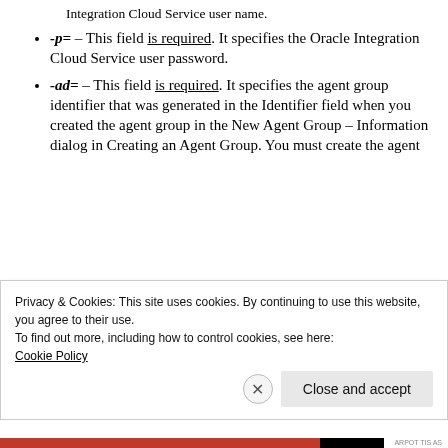Integration Cloud Service user name.
-p= – This field is required. It specifies the Oracle Integration Cloud Service user password.
-ad= – This field is required. It specifies the agent group identifier that was generated in the Identifier field when you created the agent group in the New Agent Group – Information dialog in Creating an Agent Group. You must create the agent
Privacy & Cookies: This site uses cookies. By continuing to use this website, you agree to their use.
To find out more, including how to control cookies, see here:
Cookie Policy
Close and accept